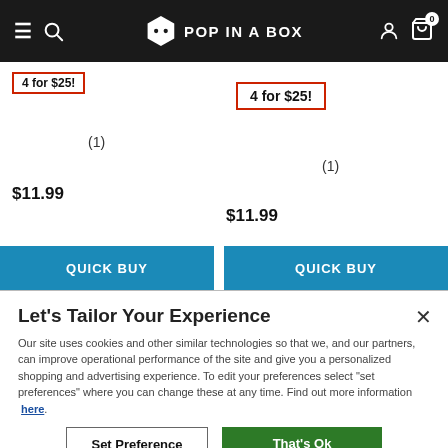POP IN A BOX
4 for $25!
4 for $25!
(1)
(1)
$11.99
$11.99
QUICK BUY
QUICK BUY
Let's Tailor Your Experience
Our site uses cookies and other similar technologies so that we, and our partners, can improve operational performance of the site and give you a personalized shopping and advertising experience. To edit your preferences select "set preferences" where you can change these at any time. Find out more information here.
Set Preference
That's Ok